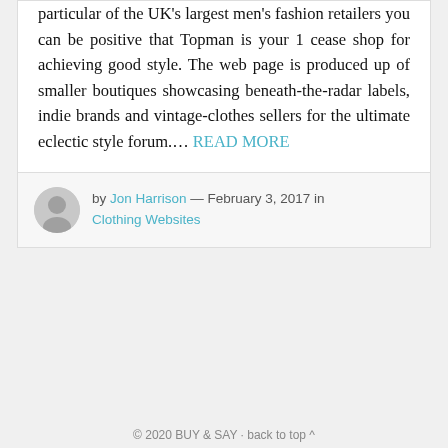particular of the UK's largest men's fashion retailers you can be positive that Topman is your 1 cease shop for achieving good style. The web page is produced up of smaller boutiques showcasing beneath-the-radar labels, indie brands and vintage-clothes sellers for the ultimate eclectic style forum.… READ MORE
by Jon Harrison — February 3, 2017 in Clothing Websites
© 2020 BUY & SAY · back to top ^